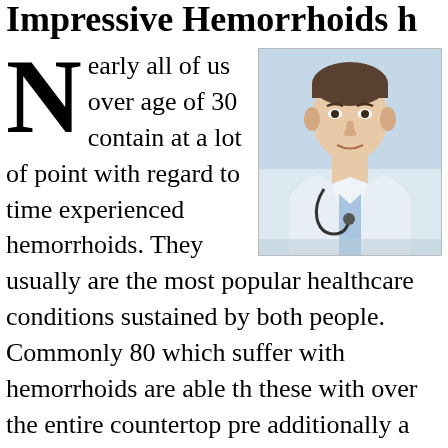Impressive Hemorrhoids h
Nearly all of us over age of 30 contain at a lot of point with regard to time experienced hemorrhoids. They usually are the most popular healthcare conditions sustained by both people. Commonly 80 which suffer with hemorrhoids are able th these with over the entire countertop pre additionally a limited life-style alterations people who suffer alongside outside hem
[Figure (photo): Photo of a male doctor or medical professional in a white coat with a stethoscope]